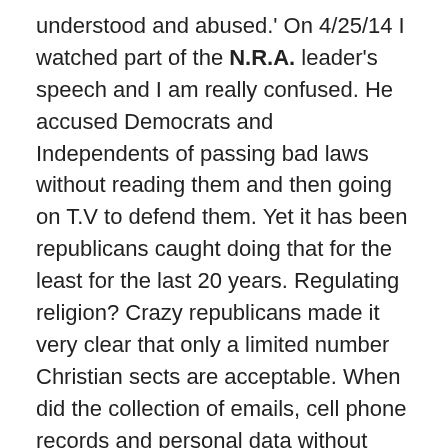understood and abused.' On 4/25/14 I watched part of the N.R.A. leader's speech and I am really confused. He accused Democrats and Independents of passing bad laws without reading them and then going on T.V to defend them. Yet it has been republicans caught doing that for the least for the last 20 years. Regulating religion? Crazy republicans made it very clear that only a limited number Christian sects are acceptable. When did the collection of emails, cell phone records and personal data without cause or warrant is Obama's fault? Didn't Wayne La Pierre know that President G.W. Bush started it? Wayne La Pierre claims how news organizations are telling lies in support of certain political groups. As far as I know only Fox news and right-wing radio show have been caught in lie after lie. As far as I know CNN and MSNBC have made mistakes but they have always made prime time apologies